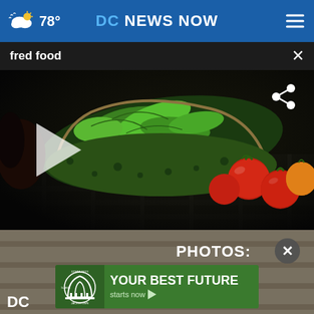78° DC NEWS NOW
fred food
[Figure (screenshot): Video thumbnail showing green leafy vegetables in a reusable bag and tomatoes on a dark background, with a play button overlay and a share icon]
[Figure (screenshot): Bottom portion showing PHOTOS: label with a close button, and an ad banner for 'YOUR BEST FUTURE starts now' by Jackstown Community College, plus 'DC' text at bottom left]